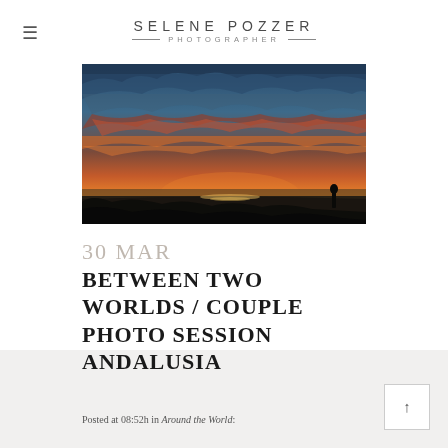SELENE POZZER PHOTOGRAPHER
[Figure (photo): Dramatic sunset landscape with vivid orange and red clouds over a dark coastline silhouette, with a lone figure standing on the right]
30 MAR BETWEEN TWO WORLDS / COUPLE PHOTO SESSION ANDALUSIA
Posted at 08:52h in Around the World: